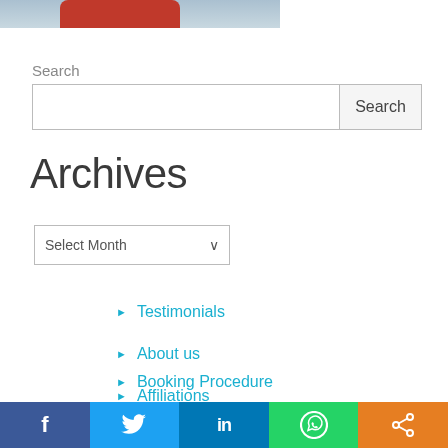[Figure (photo): Partial photo of a red vehicle against a grey sky background, cropped at top of page]
Search
Search input box with Search button
Archives
Select Month dropdown
Testimonials
About us
Affiliations
Booking Procedure
Social share bar: Facebook, Twitter, LinkedIn, WhatsApp, Share